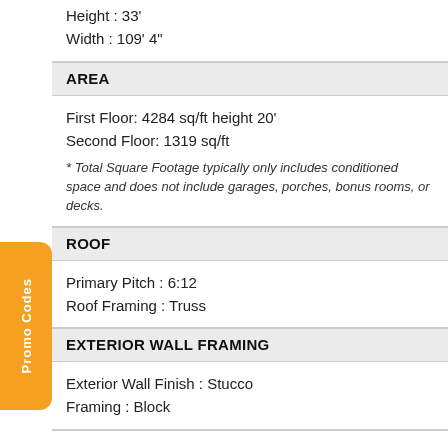Height : 33'
Width : 109' 4"
AREA
First Floor: 4284 sq/ft height 20'
Second Floor: 1319 sq/ft
* Total Square Footage typically only includes conditioned space and does not include garages, porches, bonus rooms, or decks.
ROOF
Primary Pitch : 6:12
Roof Framing : Truss
EXTERIOR WALL FRAMING
Exterior Wall Finish : Stucco
Framing : Block